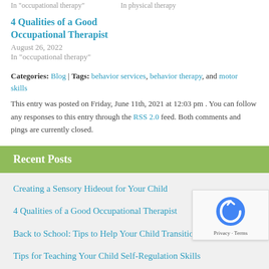In  occupational therapy     In  physical therapy
4 Qualities of a Good Occupational Therapist
August 26, 2022
In "occupational therapy"
Categories: Blog | Tags: behavior services, behavior therapy, and motor skills
This entry was posted on Friday, June 11th, 2021 at 12:03 pm . You can follow any responses to this entry through the RSS 2.0 feed. Both comments and pings are currently closed.
Recent Posts
Creating a Sensory Hideout for Your Child
4 Qualities of a Good Occupational Therapist
Back to School: Tips to Help Your Child Transition
Tips for Teaching Your Child Self-Regulation Skills
Occupational Therapy: 4 Key Benefits for Kids with